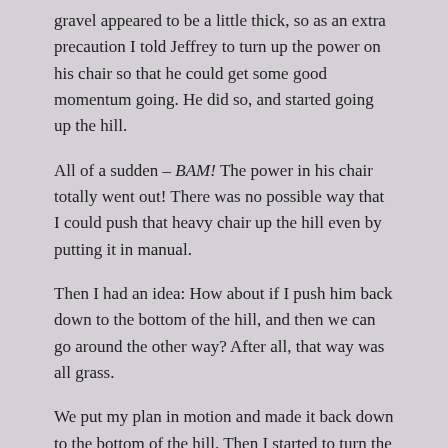gravel appeared to be a little thick, so as an extra precaution I told Jeffrey to turn up the power on his chair so that he could get some good momentum going.  He did so, and started going up the hill.
All of a sudden – BAM!  The power in his chair totally went out!  There was no possible way that I could push that heavy chair up the hill even by putting it in manual.
Then I had an idea:  How about if I push him back down to the bottom of the hill, and then we can go around the other way?  After all, that way was all grass.
We put my plan in motion and made it back down to the bottom of the hill.  Then I started to turn the chair to head into the back, but the ground was so wet from the watering that the chair got totally stuck!  I was to the